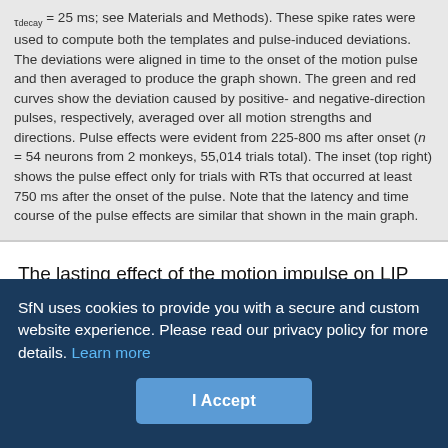τdecay = 25 ms; see Materials and Methods). These spike rates were used to compute both the templates and pulse-induced deviations. The deviations were aligned in time to the onset of the motion pulse and then averaged to produce the graph shown. The green and red curves show the deviation caused by positive- and negative-direction pulses, respectively, averaged over all motion strengths and directions. Pulse effects were evident from 225-800 ms after onset (n = 54 neurons from 2 monkeys, 55,014 trials total). The inset (top right) shows the pulse effect only for trials with RTs that occurred at least 750 ms after the onset of the pulse. Note that the latency and time course of the pulse effects are similar that shown in the main graph.
The lasting effect of the motion impulse on LIP activity is consistent with the hypothesis that LIP represents the time integral of relative motion evidence in favor of one choice alternative over another. Although it is tempting to interpret the diminishing effect of the pulse in Figure 6 as a sign of the time constant of the integrator, we will
SfN uses cookies to provide you with a secure and custom website experience. Please read our privacy policy for more details. Learn more